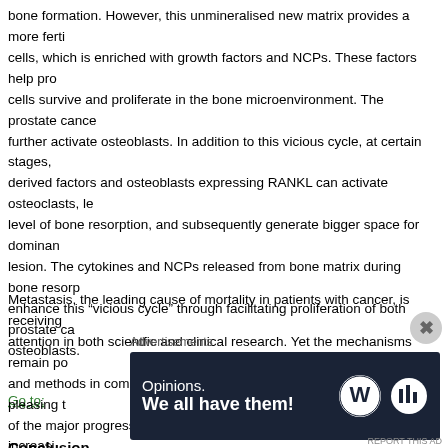bone formation. However, this unmineralised new matrix provides a more fertile ground for cancer cells, which is enriched with growth factors and NCPs. These factors help prostate cancer cells survive and proliferate in the bone microenvironment. The prostate cancer cells further activate osteoblasts. In addition to this vicious cycle, at certain stages, tumour-derived factors and osteoblasts expressing RANKL can activate osteoclasts, leading to a high level of bone resorption, and subsequently generate bigger space for dominant osteolytic lesion. The cytokines and NCPs released from bone matrix during bone resorption can enhance this “vicious cycle” through facilitating proliferation of both prostate cancer cells and osteoblasts.
Go to:
Conclusion
Metastasis, the leading cause of mortality in patients with cancer, is receiving increasing attention in both scientfic and clinical research. Yet the mechanisms remain poorly understood and methods in combatting metastasis remain limited. It is however pleasing to see some of the major progresses in this vital area of cancer research. With the increasing knowledge of gene expression, cellular behavior, biological events in the spread paths of cancer cells, there are now new prospects of taking some of the observations into the diagnosis,
Advertisements
[Figure (other): Advertisement banner with dark navy background showing text 'Opinions. We all have them!' with WordPress logo and another circular logo on the right.]